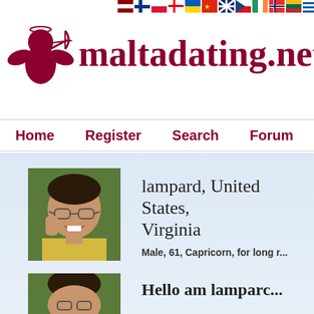[Figure (screenshot): Row of country flag icons at the top right of the page]
[Figure (logo): maltadating.net logo with cupid/cherub icon in dark red]
Home   Register   Search   Forum
[Figure (photo): Profile photo of a middle-aged man with glasses, smiling]
lampard, United States, Virginia
Male, 61, Capricorn, for long r...
[Figure (photo): Second profile photo of the same man, partially visible]
Hello am lamparc...